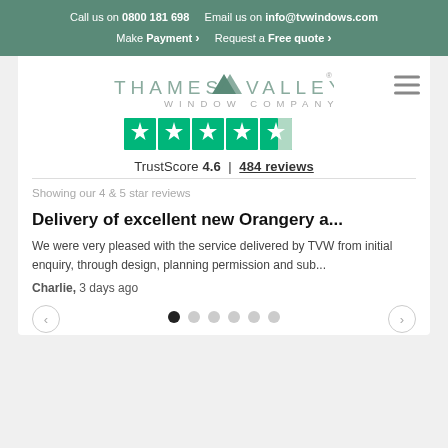Call us on 0800 181 698   Email us on info@tvwindows.com   Make Payment >   Request a Free quote >
[Figure (logo): Thames Valley Window Company logo with green roof/mountain icon between 'THAMES' and 'VALLEY' text, and 'WINDOW COMPANY' below]
[Figure (infographic): Trustpilot green star rating widget showing approximately 4.6 out of 5 stars with green star icons]
TrustScore 4.6 | 484 reviews
Showing our 4 & 5 star reviews
Delivery of excellent new Orangery a...
We were very pleased with the service delivered by TVW from initial enquiry, through design, planning permission and sub...
Charlie, 3 days ago